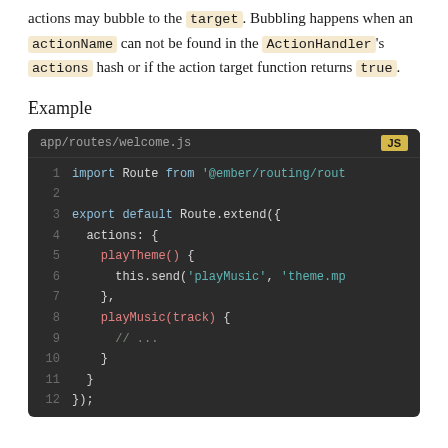actions may bubble to the `target`. Bubbling happens when an actionName can not be found in the ActionHandler's actions hash or if the action target function returns true.
Example
[Figure (screenshot): Code block showing app/routes/welcome.js with JS syntax highlighting. Lines 1-12 showing import Route from '@ember/routing/route', export default Route.extend with actions hash containing playTheme() calling this.send('playMusic', 'theme.mp...') and playMusic(track) function.]